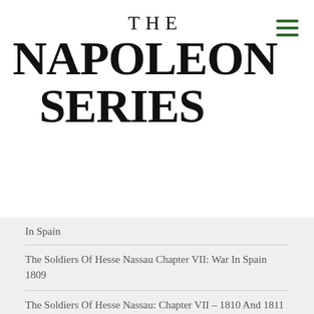THE NAPOLEON SERIES
In Spain
The Soldiers Of Hesse Nassau Chapter VII: War In Spain 1809
The Soldiers Of Hesse Nassau: Chapter VII – 1810 And 1811
The Soldiers Of Hesse Nassau: Chapter VII – 1812